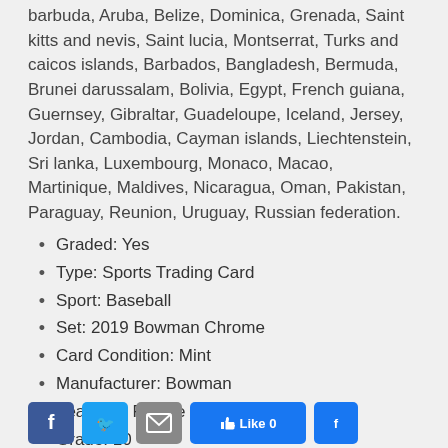barbuda, Aruba, Belize, Dominica, Grenada, Saint kitts and nevis, Saint lucia, Montserrat, Turks and caicos islands, Barbados, Bangladesh, Bermuda, Brunei darussalam, Bolivia, Egypt, French guiana, Guernsey, Gibraltar, Guadeloupe, Iceland, Jersey, Jordan, Cambodia, Cayman islands, Liechtenstein, Sri lanka, Luxembourg, Monaco, Macao, Martinique, Maldives, Nicaragua, Oman, Pakistan, Paraguay, Reunion, Uruguay, Russian federation.
Graded: Yes
Type: Sports Trading Card
Sport: Baseball
Set: 2019 Bowman Chrome
Card Condition: Mint
Manufacturer: Bowman
Features: Rookie
Grade: 10
Season: 2019
View on eBay
[Figure (other): Social media buttons: Facebook, Twitter, Email, Like, Share]